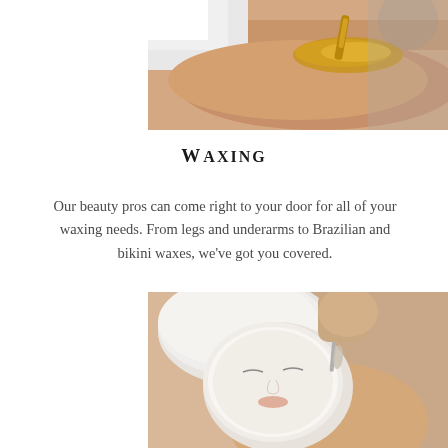[Figure (photo): Close-up of waxing being applied to skin with a spatula, warm golden wax visible on arm]
WAXING
Our beauty pros can come right to your door for all of your waxing needs. From legs and underarms to Brazilian and bikini waxes, we've got you covered.
[Figure (photo): Woman lying down with white clay face mask applied, head wrapped in white towel, beauty professional applying product with a brush]